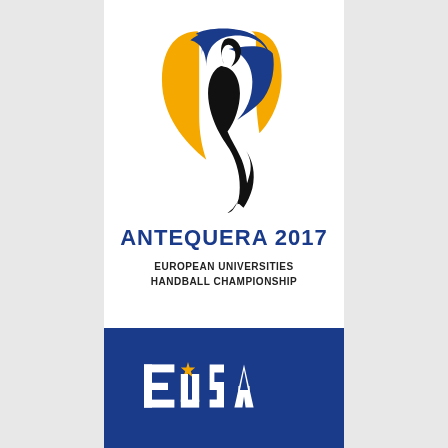[Figure (logo): Antequera 2017 European Universities Handball Championship logo — stylized player figure in black with gold/yellow and blue abstract shapes forming a U-like emblem]
ANTEQUERA 2017
EUROPEAN UNIVERSITIES
HANDBALL CHAMPIONSHIP
[Figure (logo): EUSA (European University Sports Association) logo in white on blue background, with a star replacing the U in EUSA]